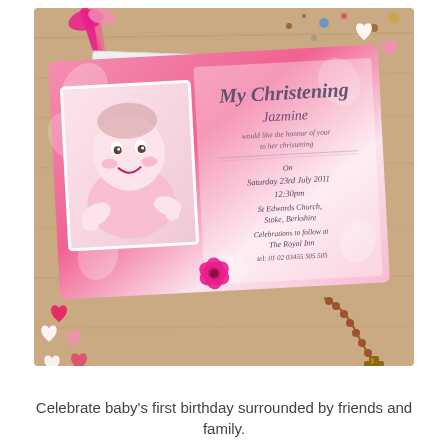[Figure (photo): A pink christening invitation card showing a smiling baby photo on the left and invitation text on the right reading 'My Christening', 'Jazmine', event details including date 'Saturday 23rd July 2011', time '12:30pm', venue 'St Edwards Church, Stoke, Berkshire', 'Celebrations to follow at The Royal Inn' and contact number. The card is displayed on a wooden background with decorative elements including pink ribbons, hearts, and a rosary cross.]
Celebrate baby's first birthday surrounded by friends and family.